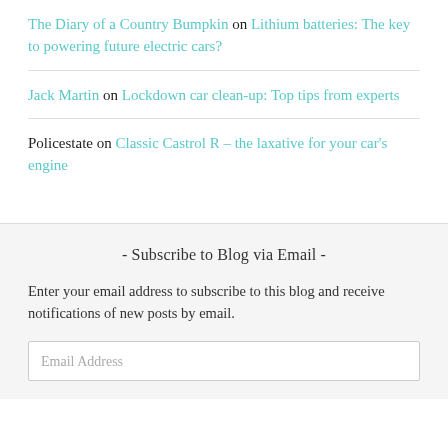The Diary of a Country Bumpkin on Lithium batteries: The key to powering future electric cars?
Jack Martin on Lockdown car clean-up: Top tips from experts
Policestate on Classic Castrol R – the laxative for your car's engine
- Subscribe to Blog via Email -
Enter your email address to subscribe to this blog and receive notifications of new posts by email.
Email Address